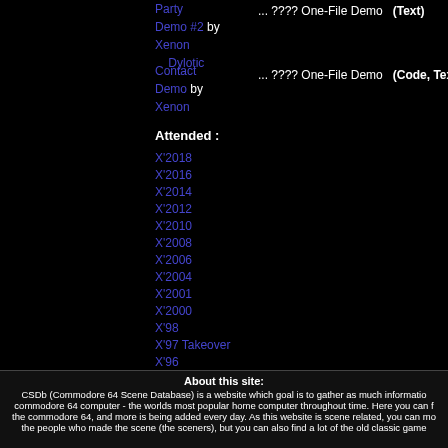Party
Demo #2 by Xenon Dylotic
... ???? One-File Demo  (Text)
Contact Demo by Xenon
... ???? One-File Demo  (Code, Text)
Attended :
X'2018
X'2016
X'2014
X'2012
X'2010
X'2008
X'2006
X'2004
X'2001
X'2000
X'98
X'97 Takeover
X'96
X'95
User ratings :
About this site: CSDb (Commodore 64 Scene Database) is a website which goal is to gather as much information on the commodore 64 computer - the worlds most popular home computer throughout time. Here you can find data about the commodore 64, and more is being added every day. As this website is scene related, you can mostly find info about the people who made the scene (the sceners), but you can also find a lot of the old classic games here as well.